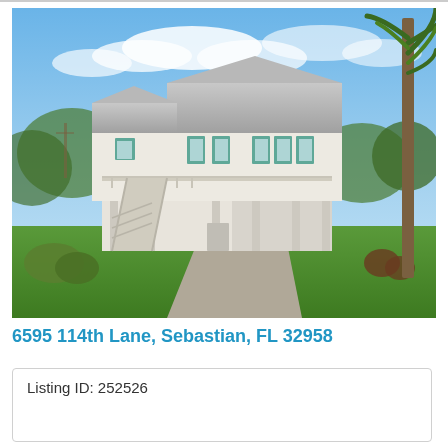[Figure (photo): Exterior photo of a two-story elevated Florida home with metal roof, teal shutters, white siding, staircase on left, carport underneath, large green lawn, palm tree on right, blue sky with clouds.]
6595 114th Lane, Sebastian, FL 32958
Listing ID: 252526